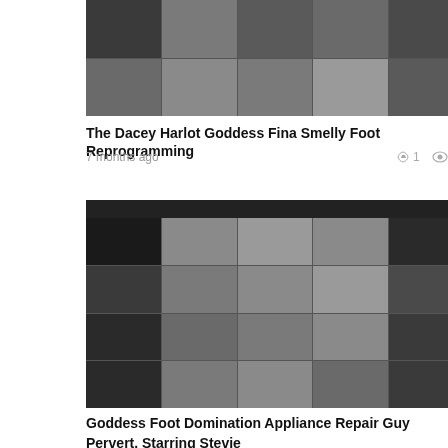[Figure (photo): A grid of video thumbnail frames showing a man and woman on a couch in various poses, 5 columns × 2 rows]
The Dacey Harlot Goddess Fina Smelly Foot Reprogramming
7 months ago   👍 1   👁 61
[Figure (photo): A grid of video thumbnail frames showing a woman standing over a man on the floor in a kitchen setting, 5 columns × 4 rows, with dark header bar]
Goddess Foot Domination Appliance Repair Guy Pervert. Starring Stevie